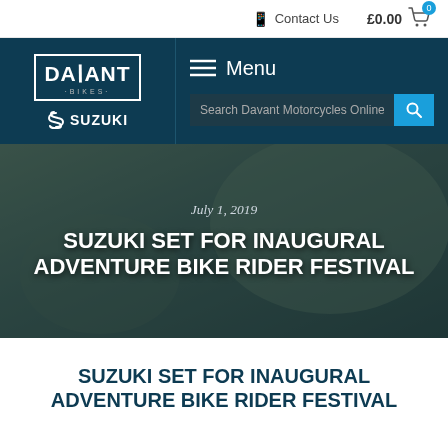Contact Us  £0.00
[Figure (logo): Davant Bikes logo with Suzuki logo and navigation bar including menu and search field]
[Figure (photo): Hero image of adventure bike rider with dark overlay, date July 1, 2019, and title text overlay]
SUZUKI SET FOR INAUGURAL ADVENTURE BIKE RIDER FESTIVAL